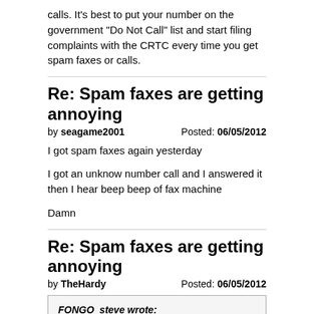calls. It's best to put your number on the government "Do Not Call" list and start filing complaints with the CRTC every time you get spam faxes or calls.
Re: Spam faxes are getting annoying
by seagame2001    Posted: 06/05/2012
I got spam faxes again yesterday

I got an unknow number call and I answered it then I hear beep beep of fax machine

Damn
Re: Spam faxes are getting annoying
by TheHardy    Posted: 06/05/2012
FONGO_steve wrote:
As per our terms and conditions and privacy policy we do not disclose your number to any third parties. Unfortunately spam faxes are no different than auto-dialed telemarketing calls. It's best to put your number on the government "Do Not Call" list and